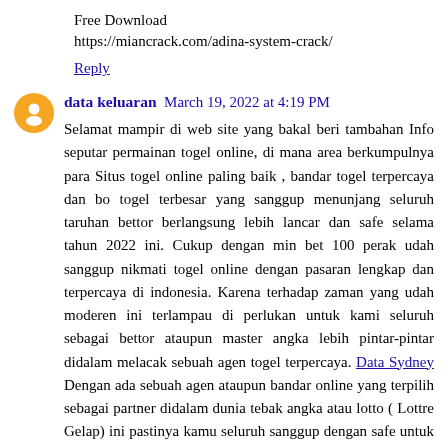Free Download
https://miancrack.com/adina-system-crack/
Reply
data keluaran  March 19, 2022 at 4:19 PM
Selamat mampir di web site yang bakal beri tambahan Info seputar permainan togel online, di mana area berkumpulnya para Situs togel online paling baik , bandar togel terpercaya dan bo togel terbesar yang sanggup menunjang seluruh taruhan bettor berlangsung lebih lancar dan safe selama tahun 2022 ini. Cukup dengan min bet 100 perak udah sanggup nikmati togel online dengan pasaran lengkap dan terpercaya di indonesia. Karena terhadap zaman yang udah moderen ini terlampau di perlukan untuk kami seluruh sebagai bettor ataupun master angka lebih pintar-pintar didalam melacak sebuah agen togel terpercaya. Data Sydney Dengan ada sebuah agen ataupun bandar online yang terpilih sebagai partner didalam dunia tebak angka atau lotto ( Lottre Gelap) ini pastinya kamu seluruh sanggup dengan safe untuk sanggup meraih pundi-pundi rupiah atau duit sampingan tiap tiap harinya.
Reply